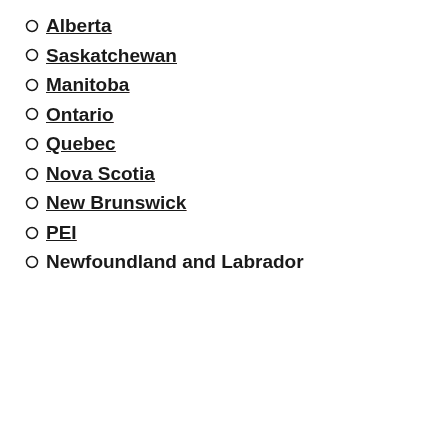Alberta
Saskatchewan
Manitoba
Ontario
Quebec
Nova Scotia
New Brunswick
PEI
Newfoundland and Labrador